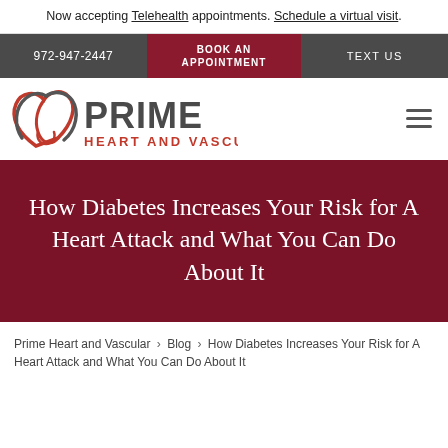Now accepting Telehealth appointments. Schedule a virtual visit.
972-947-2447 | BOOK AN APPOINTMENT | TEXT US
[Figure (logo): Prime Heart and Vascular logo with stylized heart icon in red and grey, text PRIME HEART AND VASCULAR]
How Diabetes Increases Your Risk for A Heart Attack and What You Can Do About It
Prime Heart and Vascular > Blog > How Diabetes Increases Your Risk for A Heart Attack and What You Can Do About It